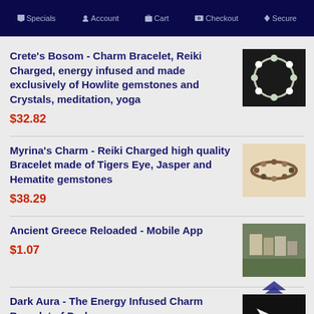Specials  Account  Cart  Checkout  Secure
Crete's Bosom - Charm Bracelet, Reiki Charged, energy infused and made exclusively of Howlite gemstones and Crystals, meditation, yoga
$32.82
Myrina's Charm - Reiki Charged high quality Bracelet made of Tigers Eye, Jasper and Hematite gemstones
$38.29
Ancient Greece Reloaded - Mobile App
$1.07
Dark Aura - The Energy Infused Charm Bracelet of Darkness
$89.29